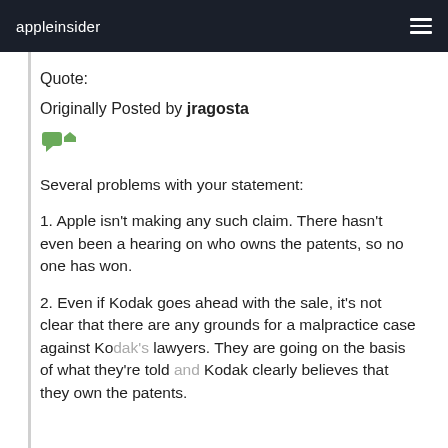appleinsider
Quote:
Originally Posted by jragosta
[Figure (other): Reply/quote icon - small green chat bubble with arrow]
Several problems with your statement:
1. Apple isn't making any such claim. There hasn't even been a hearing on who owns the patents, so no one has won.
2. Even if Kodak goes ahead with the sale, it's not clear that there are any grounds for a malpractice case against Kodak's lawyers. They are going on the basis of what they're told and Kodak clearly believes that they own the patents.